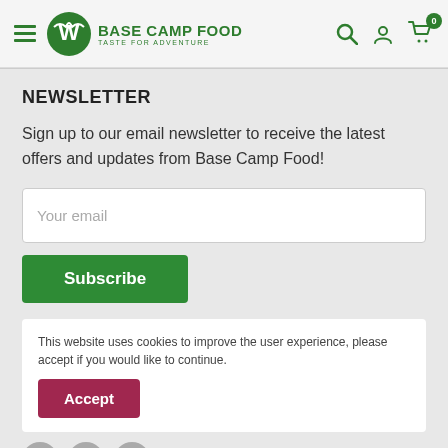BASE CAMP FOOD TASTE FOR ADVENTURE
NEWSLETTER
Sign up to our email newsletter to receive the latest offers and updates from Base Camp Food!
Your email
Subscribe
This website uses cookies to improve the user experience, please accept if you would like to continue.
Accept